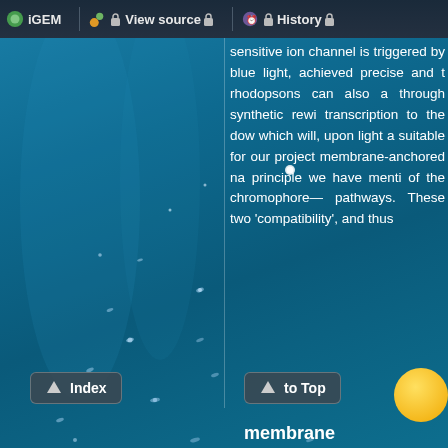iGEM | View source | History
[Figure (photo): Underwater blue scene with bioluminescent particles/plankton visible as small glowing dots against a deep blue background. A vertical white dividing line separates the left image area from the right text area.]
sensitive ion channel is triggered by blue light, achieved precise and t rhodopsons can also a through synthetic rewi transcription to the dow which will, upon light a suitable for our project membrane-anchored na principle we have menti of the chromophore— pathways. These two 'compatibility', and thus
Index | to Top | membrane